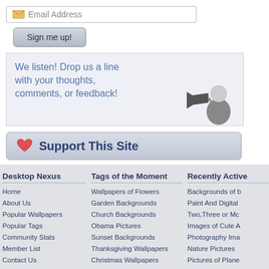Email Address
Sign me up!
We listen! Drop us a line with your thoughts, comments, or feedback!
[Figure (illustration): Black and white image of a man speaking into a megaphone/bullhorn]
Support This Site
Desktop Nexus
Home
About Us
Popular Wallpapers
Popular Tags
Community Stats
Member List
Contact Us
Tags of the Moment
Wallpapers of Flowers
Garden Backgrounds
Church Backgrounds
Obama Pictures
Sunset Backgrounds
Thanksgiving Wallpapers
Christmas Wallpapers
Recently Active
Backgrounds of b
Paint And Digital
Two,Three or Mc
Images of Cute A
Photography Ima
Nature Pictures
Pictures of Plane
Privacy Policy | Terms of Service | Partnerships | DMCA Copyright Violation
© Desktop Nexus - All rights reserved.
Page rendered with 6 queries (and 0 cached) in 0.092 seconds from server 47.